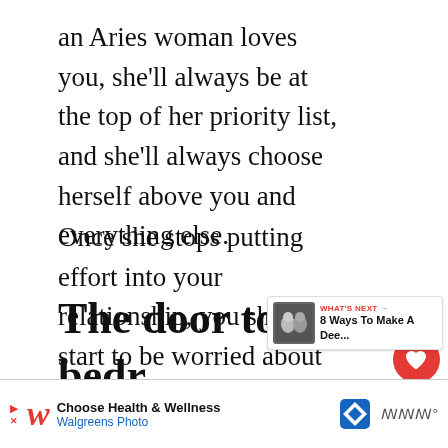an Aries woman loves you, she'll always be at the top of her priority list, and she'll always choose herself above you and everything else.

Once she stops putting effort into your relationship, you should start to be worried about the relationship's future.
The door to her bedr… will be closed to you
[Figure (infographic): Social interaction widget with red heart button showing heart icon, count label '39', and a share/forward circular button below]
[Figure (infographic): WHAT'S NEXT widget with thumbnail image of couple silhouette and text '8 Ways To Make A Dee...']
[Figure (infographic): Advertisement banner for Walgreens Photo: 'Choose Health & Wellness' with Walgreens logo, blue diamond navigation icon, and weather icon]